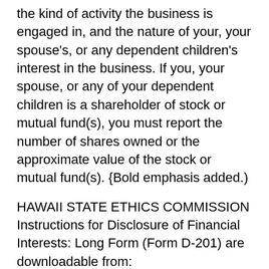the kind of activity the business is engaged in, and the nature of your, your spouse's, or any dependent children's interest in the business. If you, your spouse, or any of your dependent children is a shareholder of stock or mutual fund(s), you must report the number of shares owned or the approximate value of the stock or mutual fund(s). {Bold emphasis added.)
HAWAII STATE ETHICS COMMISSION Instructions for Disclosure of Financial Interests: Long Form (Form D-201) are downloadable from: http://ethics.hawaii.gov/wp-content/uploads/2013/10/D-201-LONGINST.pdf
As shown in the downloadable Financial Report that Senator Baker submitted in 2016, she misrepresented the “Legal name of the business” (i.e., Blackrock, Inc.) as “iShares …” to conceal her conflicting interests in the pro-vaccination